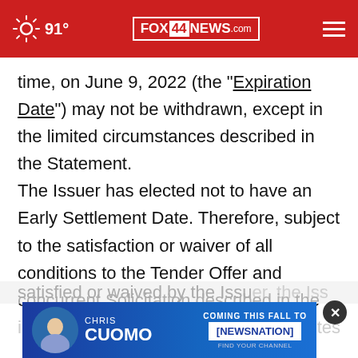91° FOX 44 NEWS.com
time, on June 9, 2022 (the "Expiration Date") may not be withdrawn, except in the limited circumstances described in the Statement.

The Issuer has elected not to have an Early Settlement Date. Therefore, subject to the satisfaction or waiver of all conditions to the Tender Offer and concurrent Solicitation described in the Statement having been either satisfied or waived by the Issuer, the Issuer intends [notes]
[Figure (screenshot): Chris Cuomo Coming This Fall to NewsNation advertisement banner with photo]